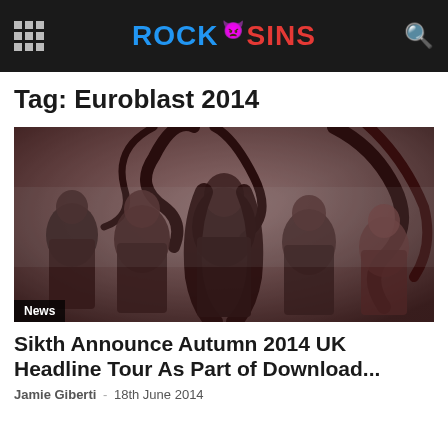Rock Sins
Tag: Euroblast 2014
[Figure (photo): Band photo of Sikth — five musicians posed against a dark abstract background with swirling dark tree-like forms. The image has a moody, desaturated red and grey tone.]
News
Sikth Announce Autumn 2014 UK Headline Tour As Part of Download...
Jamie Giberti - 18th June 2014